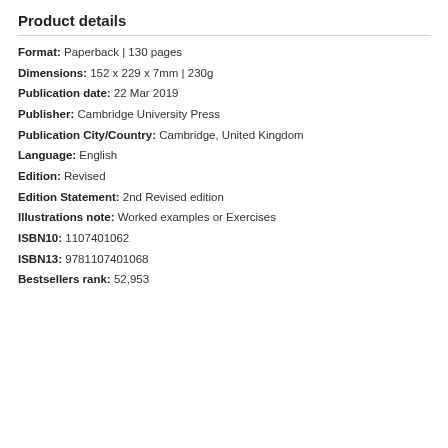Product details
Format: Paperback | 130 pages
Dimensions: 152 x 229 x 7mm | 230g
Publication date: 22 Mar 2019
Publisher: Cambridge University Press
Publication City/Country: Cambridge, United Kingdom
Language: English
Edition: Revised
Edition Statement: 2nd Revised edition
Illustrations note: Worked examples or Exercises
ISBN10: 1107401062
ISBN13: 9781107401068
Bestsellers rank: 52,953